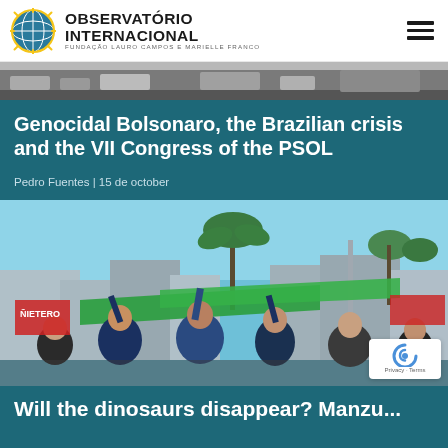OBSERVATÓRIO INTERNACIONAL — FUNDAÇÃO LAURO CAMPOS E MARIELLE FRANCO
[Figure (photo): Partial top photo strip, appears to show a street scene]
Genocidal Bolsonaro, the Brazilian crisis and the VII Congress of the PSOL
Pedro Fuentes | 15 de october
[Figure (photo): Protest scene with people holding green banners/flags outdoors under blue sky with palm trees in background]
Will the dinosaurs disappear? Manzu...